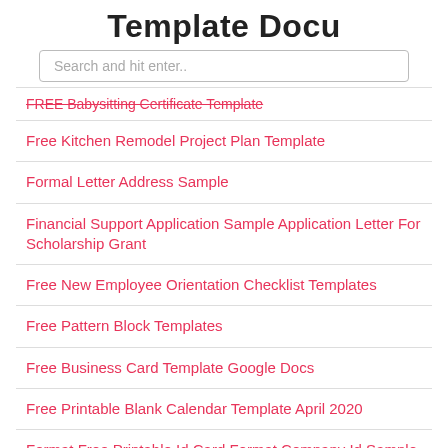Template Docu
Search and hit enter..
FREE Babysitting Certificate Template
Free Kitchen Remodel Project Plan Template
Formal Letter Address Sample
Financial Support Application Sample Application Letter For Scholarship Grant
Free New Employee Orientation Checklist Templates
Free Pattern Block Templates
Free Business Card Template Google Docs
Free Printable Blank Calendar Template April 2020
Format Free Printable Id Card Format Company Id Sample
Fishbone Diagram Template Word